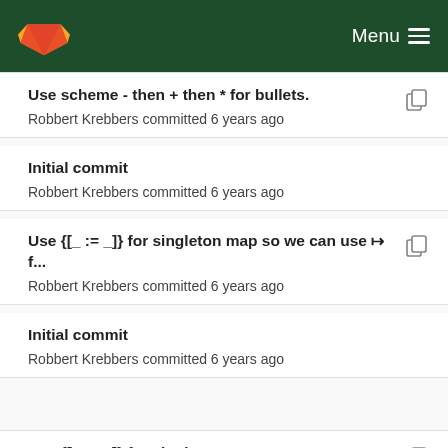GitLab — Menu
Use scheme - then + then * for bullets.
Robbert Krebbers committed 6 years ago
Initial commit
Robbert Krebbers committed 6 years ago
Use {[_ := _]} for singleton map so we can use ↦ f...
Robbert Krebbers committed 6 years ago
Initial commit
Robbert Krebbers committed 6 years ago
Use {[_ := _]} for singleton map so we can use ↦ f...
Robbert Krebbers committed 6 years ago
Initial commit
Robbert Krebbers committed 6 years ago
Separation type class for singleton maps.